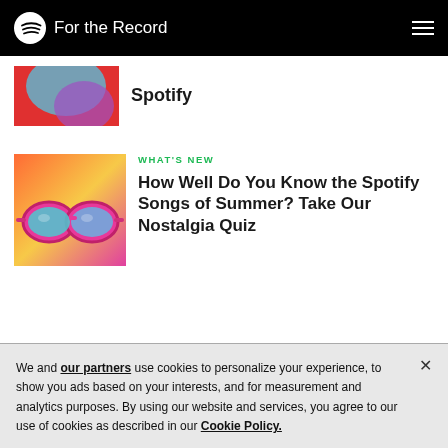For the Record
[Figure (illustration): Partial thumbnail image of a music/Spotify article with colorful abstract illustration (partially cut off at top)]
Spotify
[Figure (illustration): Square thumbnail showing colorful retro sunglasses illustration with pink, orange, and teal colors]
WHAT'S NEW
How Well Do You Know the Spotify Songs of Summer? Take Our Nostalgia Quiz
We and our partners use cookies to personalize your experience, to show you ads based on your interests, and for measurement and analytics purposes. By using our website and services, you agree to our use of cookies as described in our Cookie Policy.